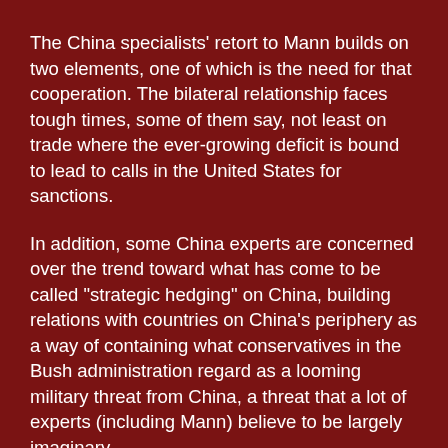The China specialists' retort to Mann builds on two elements, one of which is the need for that cooperation. The bilateral relationship faces tough times, some of them say, not least on trade where the ever-growing deficit is bound to lead to calls in the United States for sanctions.
In addition, some China experts are concerned over the trend toward what has come to be called "strategic hedging" on China, building relations with countries on China's periphery as a way of containing what conservatives in the Bush administration regard as a looming military threat from China, a threat that a lot of experts (including Mann) believe to be largely imaginary.
On human rights in particular, some China scholars criticize Mann for concentrating so much on political reform that he has failed to appreciate the enormous beneficial changes that have occurred in China over the past decade, where a